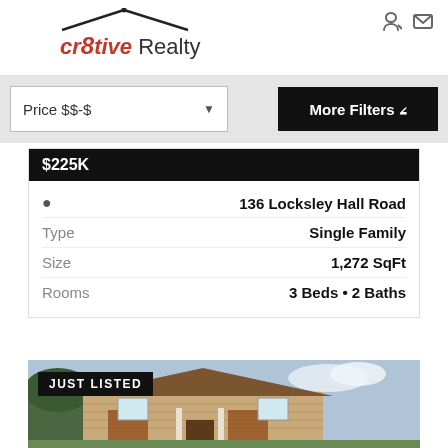[Figure (logo): cr8tive Realty logo with house roof outline above text]
[Figure (infographic): Navigation icons: login and email icons top right; hamburger menu button]
Price $$-$
More Filters
$225K
136 Locksley Hall Road
Type   Single Family
Size   1,272 SqFt
Rooms   3 Beds • 2 Baths
[Figure (photo): Exterior photo of a single-family ranch-style house with brown/tan siding, brick accents, white columns, and a shingled roof, with trees and sky in background. JUST LISTED badge overlay.]